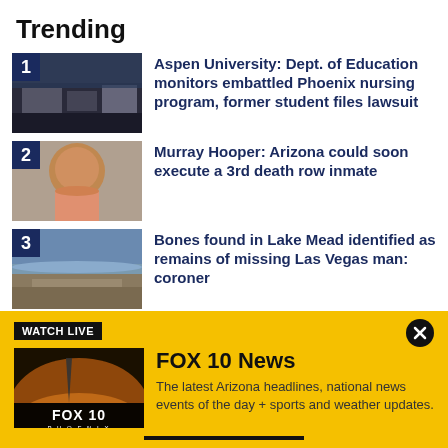Trending
1 – Aspen University: Dept. of Education monitors embattled Phoenix nursing program, former student files lawsuit
2 – Murray Hooper: Arizona could soon execute a 3rd death row inmate
3 – Bones found in Lake Mead identified as remains of missing Las Vegas man: coroner
WATCH LIVE
FOX 10 News
The latest Arizona headlines, national news events of the day + sports and weather updates.